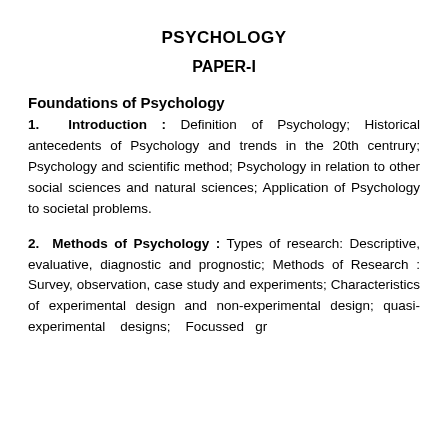PSYCHOLOGY
PAPER-I
Foundations of Psychology
1. Introduction : Definition of Psychology; Historical antecedents of Psychology and trends in the 20th centrury; Psychology and scientific method; Psychology in relation to other social sciences and natural sciences; Application of Psychology to societal problems.
2. Methods of Psychology : Types of research: Descriptive, evaluative, diagnostic and prognostic; Methods of Research : Survey, observation, case study and experiments; Characteristics of experimental design and non-experimental design; quasi-experimental designs; Focussed gr